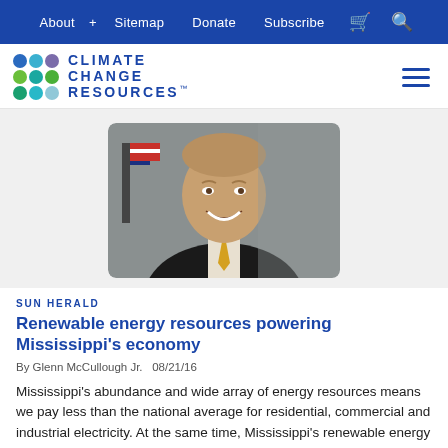About + Sitemap Donate Subscribe
[Figure (logo): Climate Change Resources logo with colored dot grid and text]
[Figure (photo): Official portrait photograph of Glenn McCullough Jr., a middle-aged man in a dark suit with a yellow tie, smiling, with an American flag and gray background behind him]
SUN HERALD
Renewable energy resources powering Mississippi's economy
By Glenn McCullough Jr.   08/21/16
Mississippi's abundance and wide array of energy resources means we pay less than the national average for residential, commercial and industrial electricity. At the same time, Mississippi's renewable energy